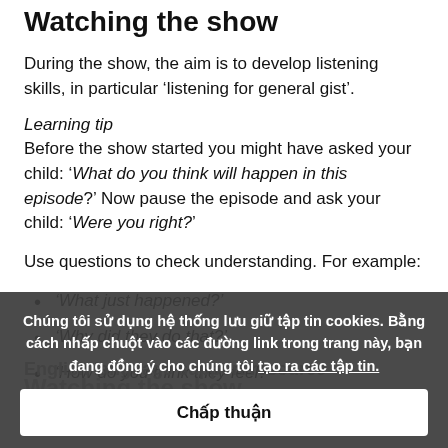Watching the show
During the show, the aim is to develop listening skills, in particular ‘listening for general gist’.
Learning tip
Before the show started you might have asked your child: ‘What do you think will happen in this episode?’ Now pause the episode and ask your child: ‘Were you right?’
Use questions to check understanding. For example:
‘What just happened?’
‘Why did they do that?’
‘How do you think they feel?’
Chúng tôi sủ dụng hẹ thóng luưu giũ tạp tin cookies. Bằng cách nháp chuột vào các đuường link trong trang này, bạn đang đồng ý cho chúng tôi tạo ra các tạp tin.
Cháp thuạn